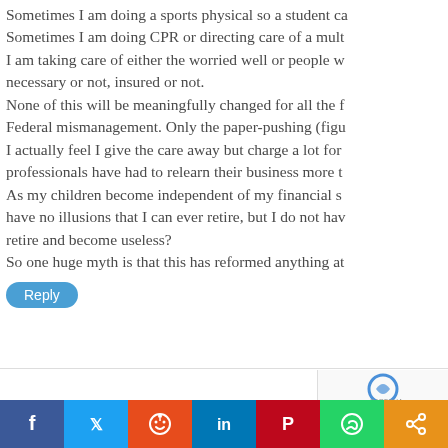Sometimes I am doing a sports physical so a student ca... Sometimes I am doing CPR or directing care of a mult... I am taking care of either the worried well or people w... necessary or not, insured or not. None of this will be meaningfully changed for all the f... Federal mismanagement. Only the paper-pushing (figu... I actually feel I give the care away but charge a lot for... professionals have had to relearn their business more t... As my children become independent of my financial s... have no illusions that I can ever retire, but I do not hav... retire and become useless? So one huge myth is that this has reformed anything at...
Reply
[Figure (other): reCAPTCHA widget in bottom-right corner]
[Figure (infographic): Social sharing bar with icons: Facebook, Twitter, Reddit, LinkedIn, Pinterest, WhatsApp, Share]